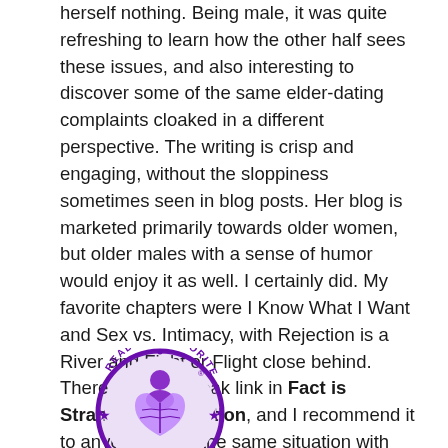herself nothing. Being male, it was quite refreshing to learn how the other half sees these issues, and also interesting to discover some of the same elder-dating complaints cloaked in a different perspective. The writing is crisp and engaging, without the sloppiness sometimes seen in blog posts. Her blog is marketed primarily towards older women, but older males with a sense of humor would enjoy it as well. I certainly did. My favorite chapters were I Know What I Want and Sex vs. Intimacy, with Rejection is a River and Fight or Flight close behind. There isn't one weak link in Fact is Stranger than Fiction, and I recommend it to anyone facing the same situation with humor.
[Figure (logo): Readers' Favorite circular badge/seal in purple with a figure holding a book and stars]